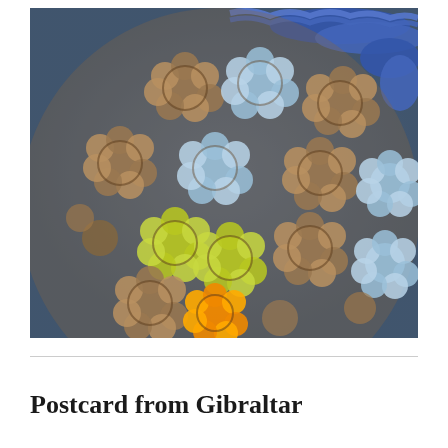[Figure (photo): Close-up photograph of crocheted fabric featuring clusters of yarn in brown/taupe, light blue, yellow-green, and orange colors, arranged in a floral granny-square style pattern. The background shows dark blue denim fabric.]
Postcard from Gibraltar